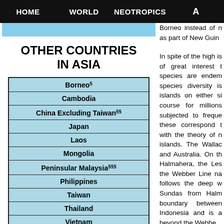HOME   WORLD   NEOTROPICS   A
Borneo instead of n as part of New Guin
OTHER COUNTRIES IN ASIA
| Borneo§ |
| Cambodia |
| China Excluding Taiwan§§ |
| Japan |
| Laos |
| Mongolia |
| Peninsular Malaysia§§§ |
| Philippines |
| Taiwan |
| Thailand |
| Vietnam |
In spite of the high is of great interest t species are endem species diversity is islands on either si course for millions subjected to freque these correspond t with the theory of n islands. The Wallac and Australia. On th Halmahera, the Les the Webber Line na follows the deep w Sundas from Halm boundary between Indonesia and is a beyond the Webbe